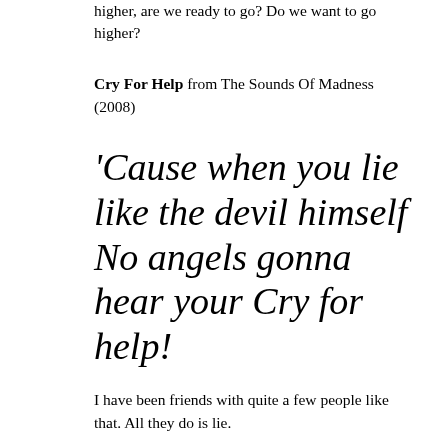higher, are we ready to go? Do we want to go higher?
Cry For Help from The Sounds Of Madness (2008)
'Cause when you lie like the devil himself No angels gonna hear your Cry for help!
I have been friends with quite a few people like that. All they do is lie.